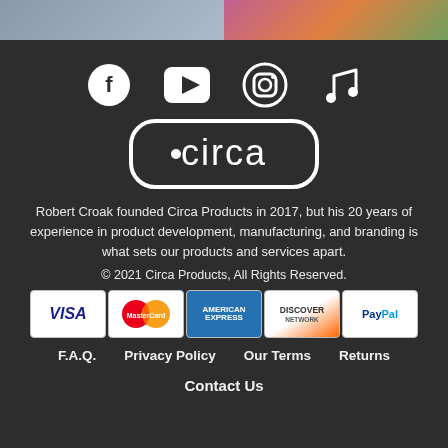[Figure (photo): Two cropped photos at top: left shows a person in blue/white clothing, right shows colorful pink/orange flowers and foliage]
[Figure (logo): Social media icons: Facebook, YouTube, Instagram, Music/iTunes — white icons on dark background]
[Figure (logo): Circa brand logo — white rounded rectangle outline with 'circa' text in lowercase]
Robert Croak founded Circa Products in 2017, but his 20 years of experience in product development, manufacturing, and branding is what sets our products and services apart.
© 2021 Circa Products, All Rights Reserved.
[Figure (other): Payment method logos: Visa, MasterCard, American Express, Discover Network, PayPal]
F.A.Q.   Privacy Policy   Our Terms   Returns
Contact Us